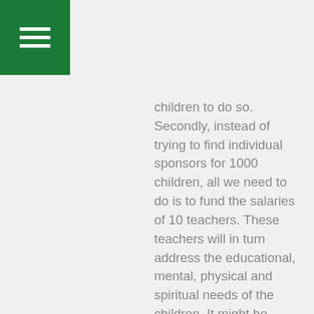children to do so. Secondly, instead of trying to find individual sponsors for 1000 children, all we need to do is to fund the salaries of 10 teachers. These teachers will in turn address the educational, mental, physical and spiritual needs of the children. It might be encouraging for you to know that the parents of these children are not left out in the development process of their own children. They just need a hand up and not a hand out from you. The parents have the responsibility for the provision of uniforms, shoes, books and other school supplies. All we are kindly asking of you is